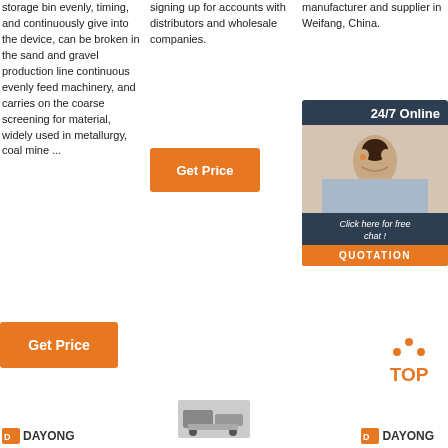storage bin evenly, timing, and continuously give into the device, can be broken in the sand and gravel production line continuous evenly feed machinery, and carries on the coarse screening for material, widely used in metallurgy, coal mine ...
signing up for accounts with distributors and wholesale companies.
manufacturer and supplier in Weifang, China.
[Figure (photo): 24/7 Online chat box with a woman wearing a headset, Click here for free chat!, QUOTATION button]
[Figure (other): Get Price button (middle column)]
[Figure (other): Get Price partial button (right column)]
[Figure (other): Get Price button (left column, bottom)]
[Figure (other): TOP button with orange dots]
[Figure (logo): DAYONG logo left]
[Figure (photo): Machine image at bottom center]
[Figure (logo): DAYONG logo right]